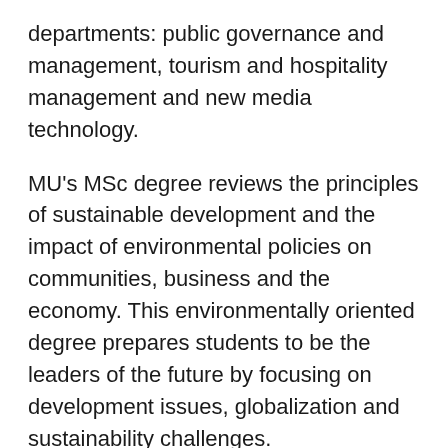departments: public governance and management, tourism and hospitality management and new media technology.
MU's MSc degree reviews the principles of sustainable development and the impact of environmental policies on communities, business and the economy. This environmentally oriented degree prepares students to be the leaders of the future by focusing on development issues, globalization and sustainability challenges.
Their research and teaching staff actively participate in international scholarly and professional networks and are at the forefront of their field, which enables them to bring students to the heart of scientific practice.
MSc graduates in Sustainable Development, Management and Policy qualify for positions as consultants, scientists, policy advisors, program coordinators and environmental